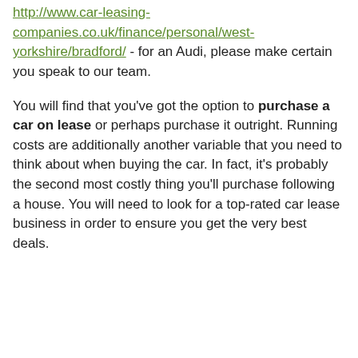http://www.car-leasing-companies.co.uk/finance/personal/west-yorkshire/bradford/ - for an Audi, please make certain you speak to our team.
You will find that you've got the option to purchase a car on lease or perhaps purchase it outright. Running costs are additionally another variable that you need to think about when buying the car. In fact, it's probably the second most costly thing you'll purchase following a house. You will need to look for a top-rated car lease business in order to ensure you get the very best deals.